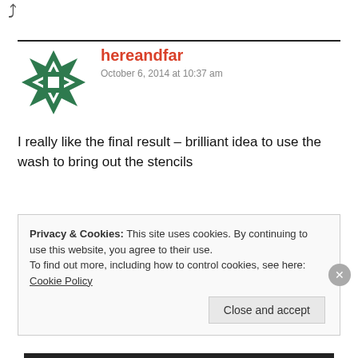[Figure (illustration): Back arrow icon at top left]
hereandfar
October 6, 2014 at 10:37 am
I really like the final result – brilliant idea to use the wash to bring out the stencils
[Figure (illustration): Purple geometric quilt-pattern avatar for nicolette/tabram]
nicolette/tabram
October 6, 2014 at 10:44 am
Privacy & Cookies: This site uses cookies. By continuing to use this website, you agree to their use.
To find out more, including how to control cookies, see here: Cookie Policy
Close and accept